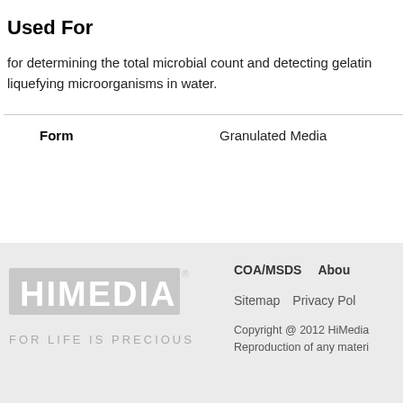Used For
for determining the total microbial count and detecting gelatin liquefying microorganisms in water.
| Form |  |
| --- | --- |
| Form | Granulated Media |
[Figure (logo): HiMedia logo with tagline FOR LIFE IS PRECIOUS]
COA/MSDS   About   Sitemap   Privacy Policy   Copyright @ 2012 HiMedia   Reproduction of any material